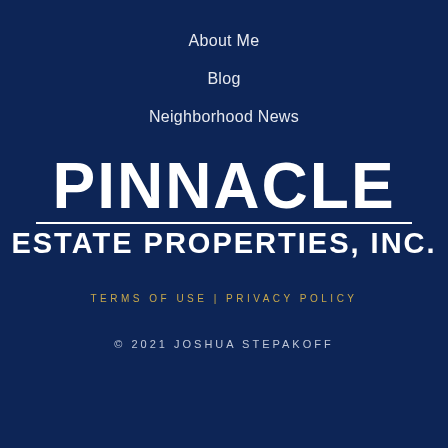About Me
Blog
Neighborhood News
PINNACLE ESTATE PROPERTIES, INC.
TERMS OF USE | PRIVACY POLICY
© 2021 JOSHUA STEPAKOFF